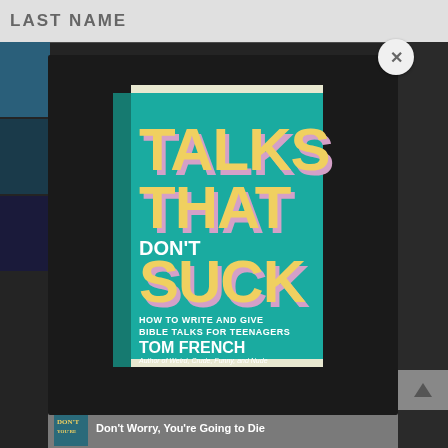LAST NAME
[Figure (photo): Book cover popup modal showing 'Talks That Don't Suck: How to Write and Give Bible Talks for Teenagers' by Tom French, Author of Weird, Crude, Funny, and Nude. Teal/turquoise cover with large yellow text and pink shadow effect. Displayed as a 3D book mockup on dark background.]
Don't Worry, You're Going to Die